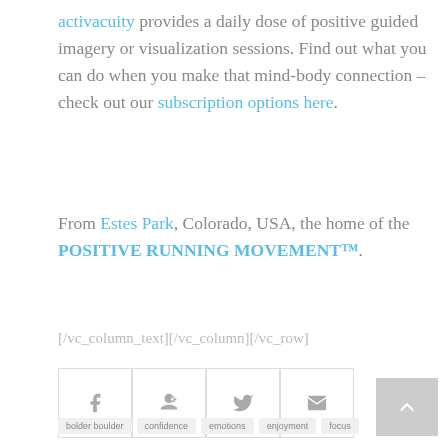activacuity provides a daily dose of positive guided imagery or visualization sessions. Find out what you can do when you make that mind-body connection – check out our subscription options here.
From Estes Park, Colorado, USA, the home of the POSITIVE RUNNING MOVEMENT™.
[/vc_column_text][/vc_column][/vc_row]
[Figure (other): Social share buttons: Facebook, Google+, Twitter, Email icons in square bordered boxes]
bolder boulder
confidence
emotions
enjoyment
focus